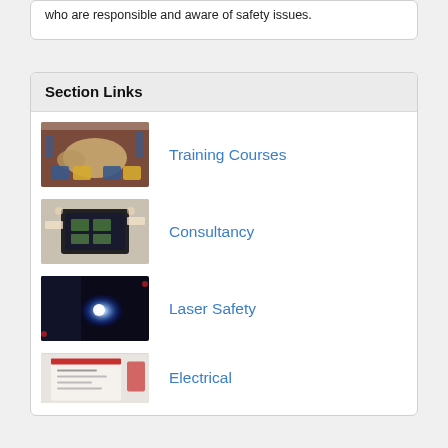who are responsible and aware of safety issues.
Section Links
[Figure (photo): A meeting room with round tables and yellow and blue chairs on a red carpet floor]
Training Courses
[Figure (photo): Hands holding open an electronic component or laser device]
Consultancy
[Figure (photo): A bright blue laser beam shining in a dark room]
Laser Safety
[Figure (photo): A partial view of a document or booklet with a red stripe]
Electrical